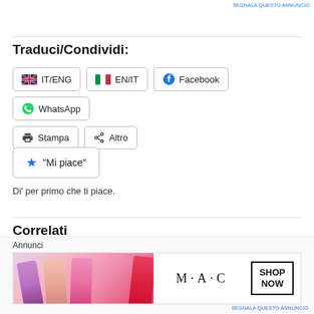SEGNALA QUESTO ANNUNCIO
Traduci/Condividi:
IT/ENG  EN/IT  Facebook  WhatsApp  Stampa  Altro
[Figure (screenshot): Like button with star icon and 'Mi piace' label]
Di' per primo che ti piace.
Correlati
[Figure (screenshot): Statistiche e informazioni panel showing Traffico, Panoramica, Ads tabs with Giorni, Settimane, Mesi, Anni, Fol buttons and PUBBLICITA label]
Annunci
[Figure (photo): MAC Cosmetics advertisement showing colorful lipsticks and SHOP NOW button]
SEGNALA QUESTO ANNUNCIO